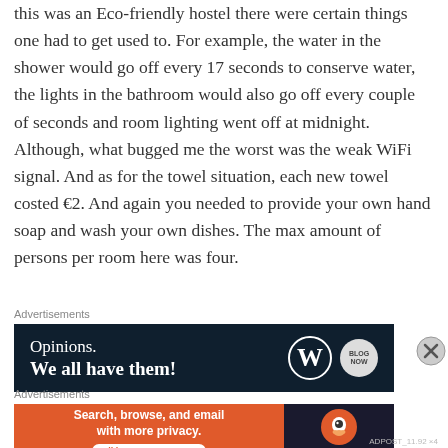this was an Eco-friendly hostel there were certain things one had to get used to. For example, the water in the shower would go off every 17 seconds to conserve water, the lights in the bathroom would also go off every couple of seconds and room lighting went off at midnight. Although, what bugged me the worst was the weak WiFi signal. And as for the towel situation, each new towel costed €2. And again you needed to provide your own hand soap and wash your own dishes. The max amount of persons per room here was four.
Advertisements
[Figure (other): WordPress advertisement banner with dark navy background. Left side shows text 'Opinions. We all have them!' in white. Right side shows WordPress logo (W in circle) and a star/badge icon.]
Advertisements
[Figure (other): DuckDuckGo advertisement banner. Left orange section says 'Search, browse, and email with more privacy.' and 'All in One Free App'. Right dark section shows DuckDuckGo duck logo and brand name.]